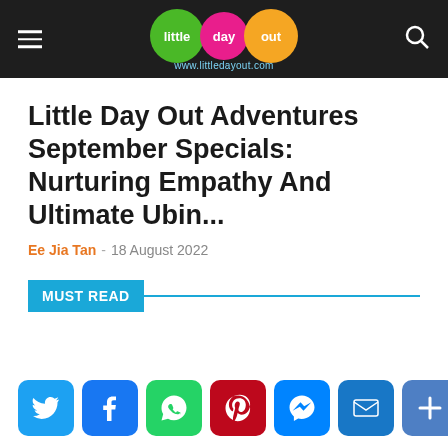little day out — www.littledayout.com
Little Day Out Adventures September Specials: Nurturing Empathy And Ultimate Ubin...
Ee Jia Tan – 18 August 2022
MUST READ
[Figure (other): Social media share buttons: Twitter, Facebook, WhatsApp, Pinterest, Messenger, Email, More]